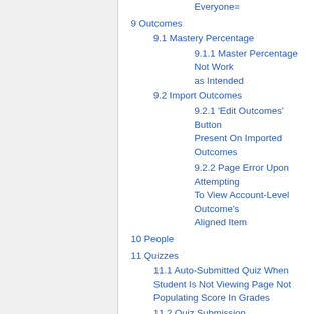Everyone=
9 Outcomes
9.1 Mastery Percentage
9.1.1 Master Percentage Not Work as Intended
9.2 Import Outcomes
9.2.1 'Edit Outcomes' Button Present On Imported Outcomes
9.2.2 Page Error Upon Attempting To View Account-Level Outcome's Aligned Item
10 People
11 Quizzes
11.1 Auto-Submitted Quiz When Student Is Not Viewing Page Not Populating Score In Grades
11.2 Quiz Submission
11.3 Special Characters in Fill in the Blank Questions
12 Mobile App
12.1 Android
12.2 Apple
12.2.1 Canvas iPhone App: Create an Announcement